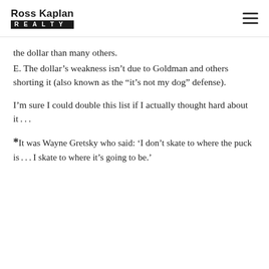Ross Kaplan Realty
the dollar than many others.
E. The dollar’s weakness isn’t due to Goldman and others shorting it (also known as the “it’s not my dog” defense).
I’m sure I could double this list if I actually thought hard about it…
*It was Wayne Gretsky who said: ‘I don’t skate to where the puck is…I skate to where it’s going to be.’